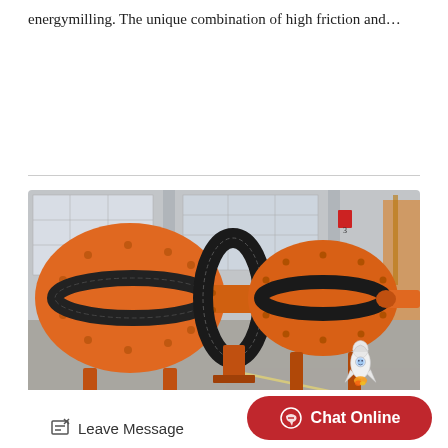energymilling. The unique combination of high friction and…
[Figure (photo): Large industrial orange ball mill machine with black gear rings, photographed in a factory/warehouse setting with concrete floor and large windows in background. A small robot/mascot figure is visible in the lower right corner.]
Leave Message
Chat Online